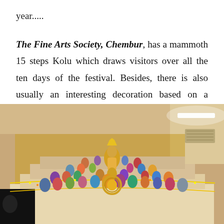year.....
The Fine Arts Society, Chembur, has a mammoth 15 steps Kolu which draws visitors over all the ten days of the festival. Besides, there is also usually an interesting decoration based on a theme.
[Figure (photo): A photograph of a Kolu (Golu) display showing numerous Hindu deity figurines arranged on multiple tiered steps. The display features colorful statues of gods and goddesses, with a large central figure prominently displayed. The background shows a beige/cream colored wall with a fluorescent light on the right side. A dark banner is visible on the lower left.]